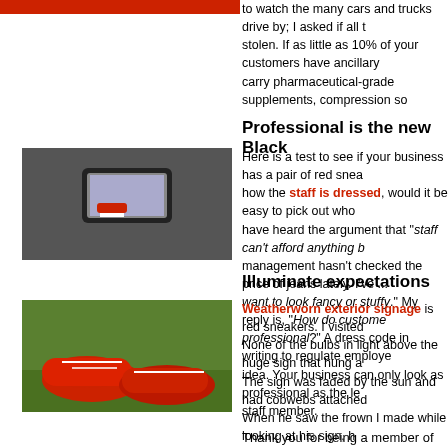[Figure (photo): Red image strip at top left, partially cut off person]
to watch the many cars and trucks drive by; I asked if all the cars were stolen. If as little as 10% of your customers have ancillary carry pharmaceutical-grade supplements, compression so
Professional is the new Black
[Figure (photo): Person holding smartphone photographing red sneakers on grass]
Here is a test to see if your business has a pair of red sneakers. Look at how the staff is dressed, would it be easy to pick out who works there? I have heard the argument that "staff can't afford anything b... management hasn't checked the price of jeans lately. I've ... want to look fancy or stuffy." My reply is, "How do customers know ... professional?" A dress code in writing to regulate employe... idea. Your business can only look as professional as the le... staff member.
Illuminate expectations
[Figure (photo): Red sneakers on green grass]
Weatherworn exterior signage is red sneakers. I visited ... None of the bulbs in light above the huge sign that hung a... The sign was faded by the sun and had cobwebs attached... When he saw the frown I made while looking at his sign, he couldn't find the time to clean the sign or change the bulbs... looks of his store sign are a reflection of what people shou... the building. Take a minute out today and step outside. Do... set the right expectations for what customers see inside?
Thank you for being a member of NCPA!